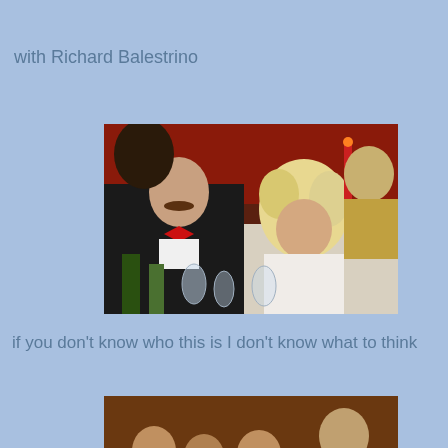with Richard Balestrino
[Figure (photo): A man with a mustache in a tuxedo with a red bow tie sitting at a dinner table next to a woman with curly blonde hair wearing white, with a formal event setting in the background including candles and glassware.]
if you don't know who this is I don't know what to think
[Figure (photo): A group of people at what appears to be a formal event or dinner, partially visible at the bottom of the page.]